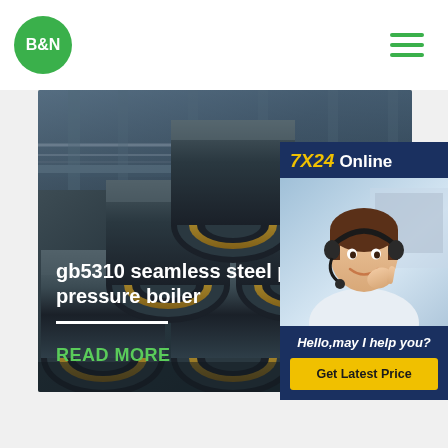[Figure (logo): B&N green circle logo]
[Figure (illustration): Hamburger menu icon with three green horizontal lines]
[Figure (photo): Hero image of stacked insulated seamless steel pipes in a warehouse setting]
gb5310 seamless steel pipe pressure boiler
READ MORE
[Figure (infographic): 7X24 Online chat widget with customer service representative photo, Hello may I help you? text, and Get Latest Price button]